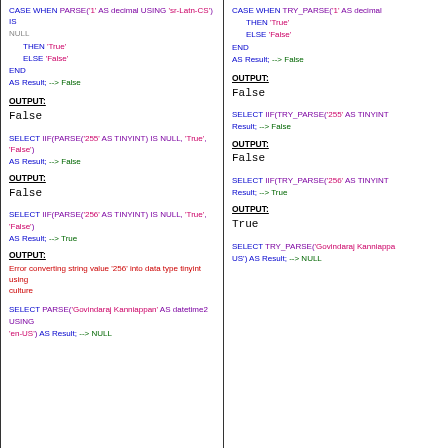CASE WHEN PARSE('1' AS decimal USING 'sr-Latn-CS') IS NULL THEN 'True' ELSE 'False' END AS Result; --> False
OUTPUT: False
SELECT IIF(PARSE('255' AS TINYINT) IS NULL, 'True', 'False') AS Result; --> False
OUTPUT: False
SELECT IIF(PARSE('256' AS TINYINT) IS NULL, 'True', 'False') AS Result; --> True
OUTPUT: Error converting string value '256' into data type tinyint using culture
SELECT PARSE('Govindaraj Kanniappan' AS datetime2 USING 'en-US') AS Result; --> NULL
CASE WHEN TRY_PARSE('1' AS decimal USING ...) IS NULL THEN 'True' ELSE 'False' END AS Result; --> False
OUTPUT: False
SELECT IIF(TRY_PARSE('255' AS TINYINT) IS NULL, ...) Result; --> False
OUTPUT: False
SELECT IIF(TRY_PARSE('256' AS TINYINT) IS NULL, ...) Result; --> True
OUTPUT: True
SELECT TRY_PARSE('Govindaraj Kanniappan' ... 'en-US') AS Result; --> NULL